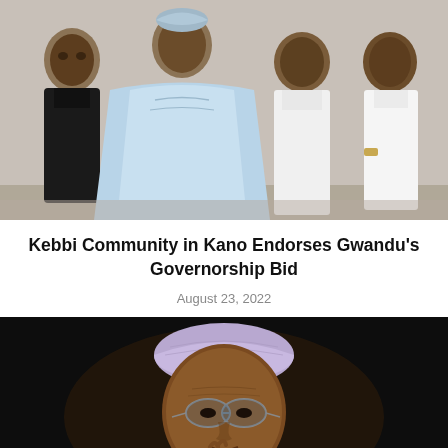[Figure (photo): Four men standing together for a group photo. The leftmost man wears a dark outfit, the second man wears a light blue traditional Nigerian agbada/babariga, the third man wears a white traditional outfit, and the rightmost man wears a white outfit with a watch.]
Kebbi Community in Kano Endorses Gwandu's Governorship Bid
August 23, 2022
[Figure (photo): A close-up photo of an older Nigerian man wearing a light purple/lavender traditional cap and glasses, with his hand raised near his chin in a thoughtful pose against a dark background.]